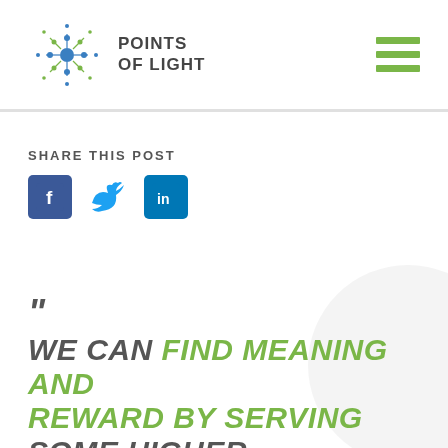[Figure (logo): Points of Light logo with starburst/dot graphic and text 'POINTS OF LIGHT']
SHARE THIS POST
[Figure (infographic): Three social media sharing icons: Facebook (blue square with f), Twitter (blue bird), LinkedIn (blue square with in)]
" WE CAN FIND MEANING AND REWARD BY SERVING SOME HIGHER PURPOSE THAN OURSELVES A